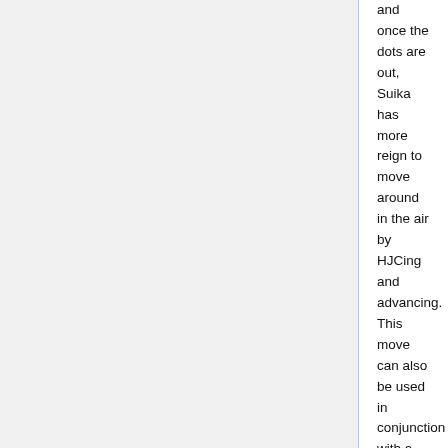and once the dots are out, Suika has more reign to move around in the air by HJCing and advancing. This move can also be used in conjunction with a 236A in the corner, which allows Suika to continue pressure by using the frame advantage off the bottom-most dot of 2C which keeps an opponent blocking after 236A recovers. Against graze attacks cancelling into236B will armor through and give you a nice 2k+ combo. With enough range it is possible to react to the graze against characters making this a very safe options but against characters with extremely fast graze attacks like Marisa you will have to guess on both the attack but the timing of it too.
5C: This move is slow and requires proper spacing for best usage. For